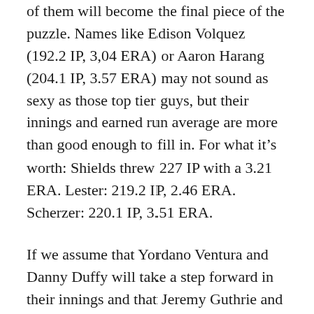of them will become the final piece of the puzzle. Names like Edison Volquez (192.2 IP, 3,04 ERA) or Aaron Harang (204.1 IP, 3.57 ERA) may not sound as sexy as those top tier guys, but their innings and earned run average are more than good enough to fill in. For what it's worth: Shields threw 227 IP with a 3.21 ERA. Lester: 219.2 IP, 2.46 ERA. Scherzer: 220.1 IP, 3.51 ERA.
If we assume that Yordano Ventura and Danny Duffy will take a step forward in their innings and that Jeremy Guthrie and Jason Vargas maintain their production, we don't need 230 innings. 180 innings would do just fine. Throw in the deepest bullpen in baseball, and you've got a recipe for success.